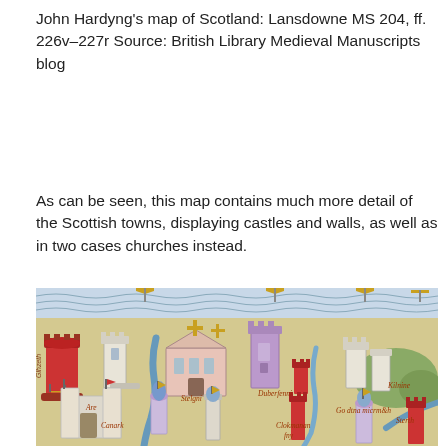John Hardyng's map of Scotland: Lansdowne MS 204, ff. 226v–227r Source: British Library Medieval Manuscripts blog
As can be seen, this map contains much more detail of the Scottish towns, displaying castles and walls, as well as in two cases churches instead.
[Figure (illustration): A detail from John Hardyng's medieval manuscript map of Scotland showing illuminated illustrations of castles, towers, churches and fortified towns with gothic text labels, rendered in watercolour style with red towers, white fortifications, blue rivers, and gold banners against a beige parchment background.]